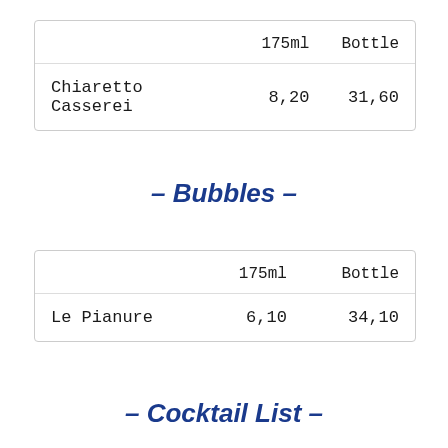|  | 175ml | Bottle |
| --- | --- | --- |
| Chiaretto Casserei | 8,20 | 31,60 |
– Bubbles –
|  | 175ml | Bottle |
| --- | --- | --- |
| Le Pianure | 6,10 | 34,10 |
– Cocktail List –